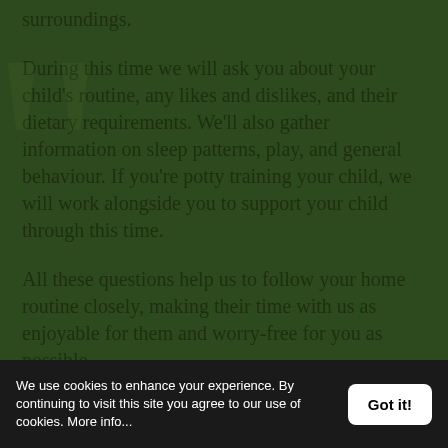surroundings.
During this time we will ask you about your child's routine, any likes and dislikes, and their dietary requirements. We'll also gather information on sleep patterns, play, and general behaviour. If you're potty training your child, we will work alongside you to support your child through this time.
All these questions help us to follow your home routine closely, making their time with us as enjoyable for them and worry-free for you as possible.
We use cookies to enhance your experience. By continuing to visit this site you agree to our use of cookies. More info...